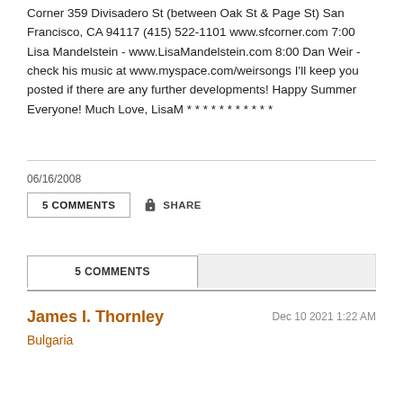Corner 359 Divisadero St (between Oak St & Page St) San Francisco, CA 94117 (415) 522-1101 www.sfcorner.com 7:00 Lisa Mandelstein - www.LisaMandelstein.com 8:00 Dan Weir - check his music at www.myspace.com/weirsongs I'll keep you posted if there are any further developments! Happy Summer Everyone! Much Love, LisaM * * * * * * * * * * *
06/16/2008
5 COMMENTS
SHARE
5 COMMENTS
James I. Thornley
Dec 10 2021 1:22 AM
Bulgaria